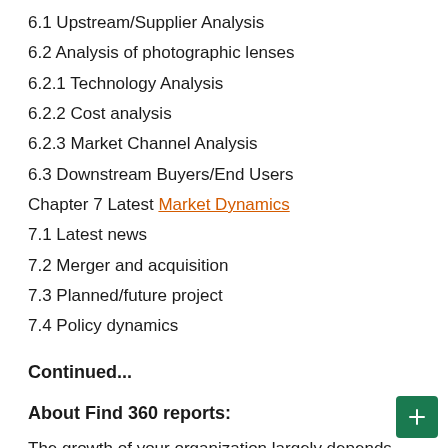6.1 Upstream/Supplier Analysis
6.2 Analysis of photographic lenses
6.2.1 Technology Analysis
6.2.2 Cost analysis
6.2.3 Market Channel Analysis
6.3 Downstream Buyers/End Users
Chapter 7 Latest Market Dynamics
7.1 Latest news
7.2 Merger and acquisition
7.3 Planned/future project
7.4 Policy dynamics
Continued...
About Find 360 reports:
The growth of your organization largely depends